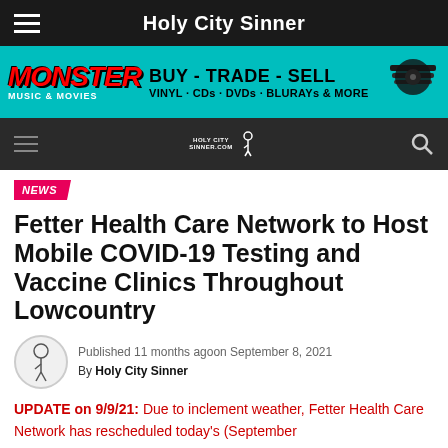Holy City Sinner
[Figure (other): Monster Music & Movies advertisement banner: BUY - TRADE - SELL VINYL · CDs · DVDs · BLURAYs & MORE on teal background]
Holy City Sinner navigation bar with hamburger menu, logo, and search icon
NEWS
Fetter Health Care Network to Host Mobile COVID-19 Testing and Vaccine Clinics Throughout Lowcountry
Published 11 months agoon September 8, 2021
By Holy City Sinner
UPDATE on 9/9/21: Due to inclement weather, Fetter Health Care Network has rescheduled today's (September